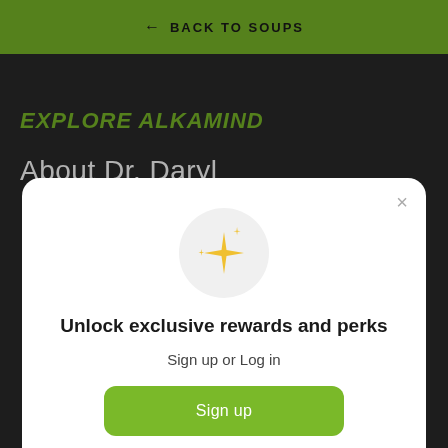← BACK TO SOUPS
EXPLORE ALKAMIND
About Dr. Daryl
[Figure (illustration): Sparkle/star emoji icon in a light gray circle]
Unlock exclusive rewards and perks
Sign up or Log in
Sign up
Already have an account? Sign in